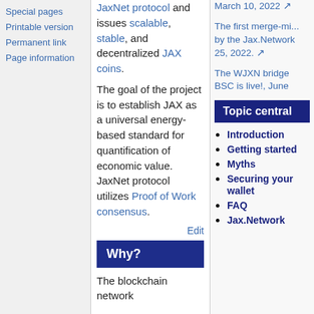Special pages
Printable version
Permanent link
Page information
JaxNet protocol and issues scalable, stable, and decentralized JAX coins.
The goal of the project is to establish JAX as a universal energy-based standard for quantification of economic value. JaxNet protocol utilizes Proof of Work consensus.
Edit
Why?
The blockchain network
March 10, 2022
The first merge-mi... by the Jax.Network 25, 2022.
The WJXN bridge BSC is live!, June
Topic central
Introduction
Getting started
Myths
Securing your wallet
FAQ
Jax.Network statistics